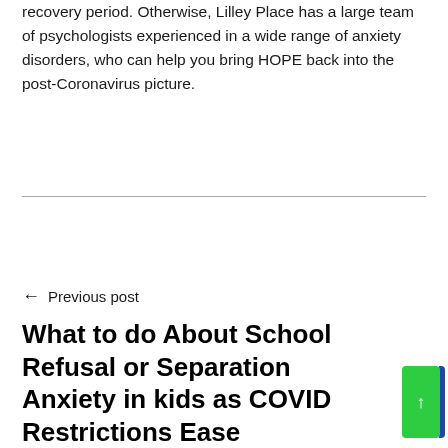recovery period. Otherwise, Lilley Place has a large team of psychologists experienced in a wide range of anxiety disorders, who can help you bring HOPE back into the post-Coronavirus picture.
← Previous post
What to do About School Refusal or Separation Anxiety in kids as COVID Restrictions Ease